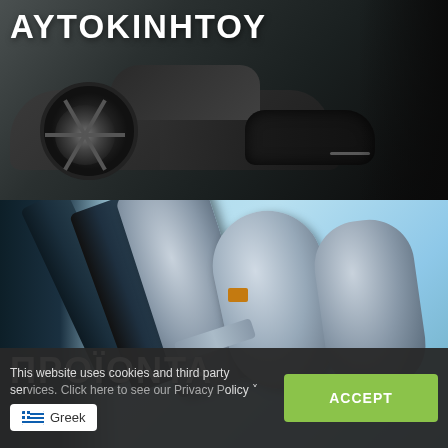[Figure (photo): Dark grey Mercedes-Benz car front/side view with alloy wheel, photographed against dark background]
ΑΥΤΟΚΙΝΗΤΟΥ
[Figure (photo): Close-up of metallic mechanical car parts (shock absorbers/suspension components) against light blue background]
ΠΡΟΪΟΝΤΑ
This website uses cookies and third party services. Click here to see our Privacy Policy ˅
Greek
ACCEPT